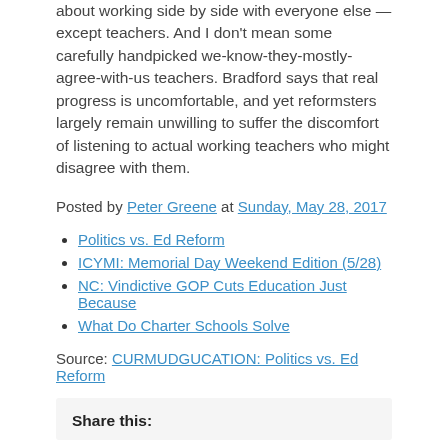about working side by side with everyone else — except teachers. And I don't mean some carefully handpicked we-know-they-mostly-agree-with-us teachers. Bradford says that real progress is uncomfortable, and yet reformsters largely remain unwilling to suffer the discomfort of listening to actual working teachers who might disagree with them.
Posted by Peter Greene at Sunday, May 28, 2017
Politics vs. Ed Reform
ICYMI: Memorial Day Weekend Edition (5/28)
NC: Vindictive GOP Cuts Education Just Because
What Do Charter Schools Solve
Source: CURMUDGUCATION: Politics vs. Ed Reform
Share this: